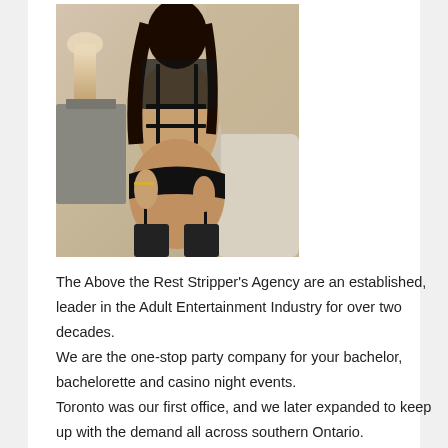[Figure (photo): A woman in black lingerie and stockings photographed from behind in a bedroom setting]
The Above the Rest Stripper's Agency are an established, leader in the Adult Entertainment Industry for over two decades.
We are the one-stop party company for your bachelor, bachelorette and casino night events.
Toronto was our first office, and we later expanded to keep up with the demand all across southern Ontario.